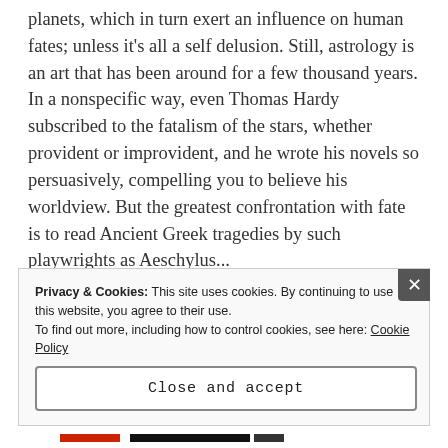planets, which in turn exert an influence on human fates; unless it's all a self delusion. Still, astrology is an art that has been around for a few thousand years. In a nonspecific way, even Thomas Hardy subscribed to the fatalism of the stars, whether provident or improvident, and he wrote his novels so persuasively, compelling you to believe his worldview. But the greatest confrontation with fate is to read Ancient Greek tragedies by such playwrights as Aeschylus...
Privacy & Cookies: This site uses cookies. By continuing to use this website, you agree to their use.
To find out more, including how to control cookies, see here: Cookie Policy
Close and accept